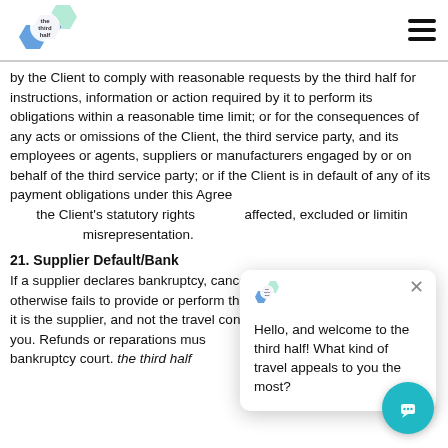the third half — logo and navigation
by the Client to comply with reasonable requests by the third half for instructions, information or action required by it to perform its obligations within a reasonable time limit; or for the consequences of any acts or omissions of the Client, the third service party, and its employees or agents, suppliers or manufacturers engaged by or on behalf of the third service party; or if the Client is in default of any of its payment obligations under this Agreement, the third half guarantees that the Client's statutory rights are not affected, excluded or limited by misrepresentation.
21. Supplier Default/Bank...
If a supplier declares bankruptcy, cancels or postpones service or otherwise fails to provide or perform the services you have purchased, it is the supplier, and not the travel consultant is legally responsible to you. Refunds or reparations must directly from the supplier or the bankruptcy court. the third half